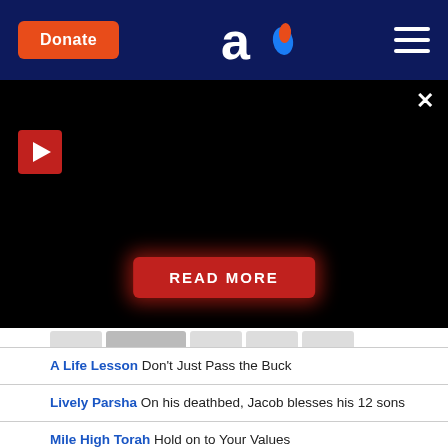[Figure (screenshot): Website header with dark navy blue background. Contains orange 'Donate' button on the left, an 'Aish' logo (letter 'a' with flame) in the center, and a hamburger menu icon on the right.]
[Figure (screenshot): Black video player area with a red play button icon on the left, a close (X) button in the top right, and a red 'READ MORE' button centered at the bottom with red glow effect.]
A Life Lesson Don't Just Pass the Buck
Lively Parsha On his deathbed, Jacob blesses his 12 sons
Mile High Torah Hold on to Your Values
1 Minute Vort on the Parsha Deaf to the World
Mystical Tour Twelve Tribes and Months
The New Old Path The Selfish Benefit of Selflessness
Parsha Point Turning the Land of Pain Into the Garden of Eden
Seize the Moment Mission: Possible